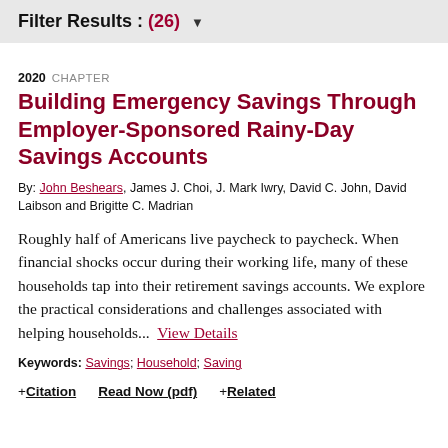Filter Results : (26) ▾
2020  CHAPTER
Building Emergency Savings Through Employer-Sponsored Rainy-Day Savings Accounts
By: John Beshears, James J. Choi, J. Mark Iwry, David C. John, David Laibson and Brigitte C. Madrian
Roughly half of Americans live paycheck to paycheck. When financial shocks occur during their working life, many of these households tap into their retirement savings accounts. We explore the practical considerations and challenges associated with helping households...  View Details
Keywords: Savings; Household; Saving
+ Citation    Read Now (pdf)    + Related